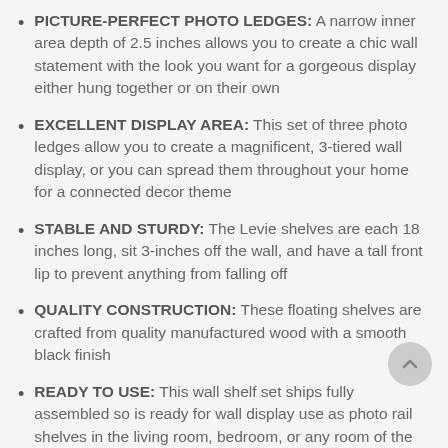PICTURE-PERFECT PHOTO LEDGES: A narrow inner area depth of 2.5 inches allows you to create a chic wall statement with the look you want for a gorgeous display either hung together or on their own
EXCELLENT DISPLAY AREA: This set of three photo ledges allow you to create a magnificent, 3-tiered wall display, or you can spread them throughout your home for a connected decor theme
STABLE AND STURDY: The Levie shelves are each 18 inches long, sit 3-inches off the wall, and have a tall front lip to prevent anything from falling off
QUALITY CONSTRUCTION: These floating shelves are crafted from quality manufactured wood with a smooth black finish
READY TO USE: This wall shelf set ships fully assembled so is ready for wall display use as photo rail shelves in the living room, bedroom, or any room of the home to display your photo memories or art in a contemporary way
Create a modern wall display that taps into the quality